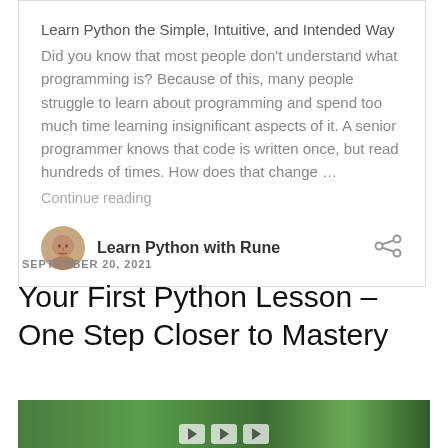Learn Python the Simple, Intuitive, and Intended Way Did you know that most people don't understand what programming is? Because of this, many people struggle to learn about programming and spend too much time learning insignificant aspects of it. A senior programmer knows that code is written once, but read hundreds of times. How does that change …
Continue reading
Learn Python with Rune
SEPTEMBER 20, 2021
Your First Python Lesson – One Step Closer to Mastery
[Figure (photo): Green background image strip at the bottom of the page, partially visible, with play button controls]